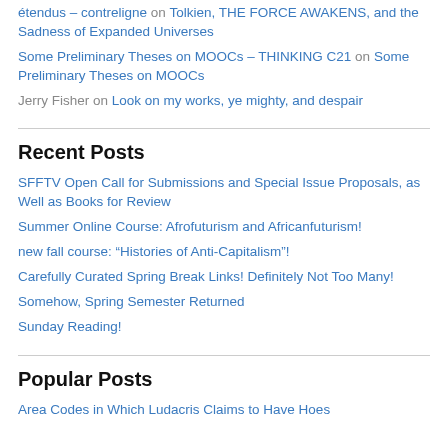étendus – contreligne on Tolkien, THE FORCE AWAKENS, and the Sadness of Expanded Universes
Some Preliminary Theses on MOOCs – THINKING C21 on Some Preliminary Theses on MOOCs
Jerry Fisher on Look on my works, ye mighty, and despair
Recent Posts
SFFTV Open Call for Submissions and Special Issue Proposals, as Well as Books for Review
Summer Online Course: Afrofuturism and Africanfuturism!
new fall course: “Histories of Anti-Capitalism”!
Carefully Curated Spring Break Links! Definitely Not Too Many!
Somehow, Spring Semester Returned
Sunday Reading!
Popular Posts
Area Codes in Which Ludacris Claims to Have Hoes